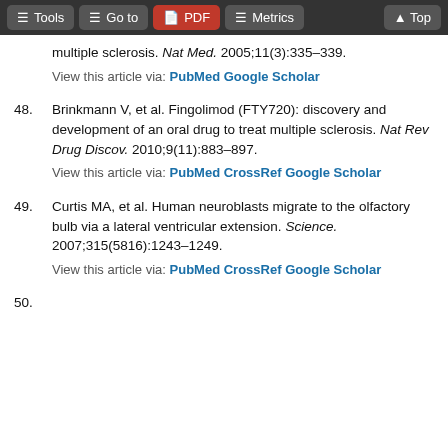Tools | Go to | PDF | Metrics | Top
multiple sclerosis. Nat Med. 2005;11(3):335–339.
View this article via: PubMed Google Scholar
48. Brinkmann V, et al. Fingolimod (FTY720): discovery and development of an oral drug to treat multiple sclerosis. Nat Rev Drug Discov. 2010;9(11):883–897.
View this article via: PubMed CrossRef Google Scholar
49. Curtis MA, et al. Human neuroblasts migrate to the olfactory bulb via a lateral ventricular extension. Science. 2007;315(5816):1243–1249.
View this article via: PubMed CrossRef Google Scholar